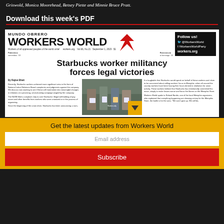Griswold, Monica Moorehead, Betsey Piette and Minnie Bruce Pratt.
Download this week's PDF
[Figure (screenshot): Thumbnail of Workers World / Mundo Obrero newspaper front page. Headline: 'Starbucks worker militancy forces legal victories'. Includes logo with red star, Follow us social media box, and photo of workers holding signs.]
Get the latest updates from Workers World
Email address
Subscribe